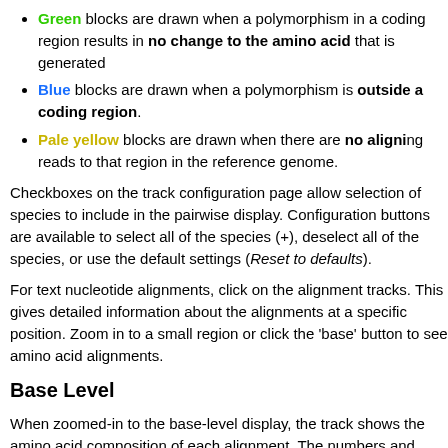Green blocks are drawn when a polymorphism in a coding region results in no change to the amino acid that is generated
Blue blocks are drawn when a polymorphism is outside a coding region.
Pale yellow blocks are drawn when there are no aligning reads to that region in the reference genome.
Checkboxes on the track configuration page allow selection of species to include in the pairwise display. Configuration buttons are available to select all of the species (+), deselect all of the species, or use the default settings (Reset to defaults).
For text nucleotide alignments, click on the alignment tracks. This gives detailed information about the alignments at a specific position. Zoom in to a small region or click the 'base' button to see amino acid alignments.
Base Level
When zoomed-in to the base-level display, the track shows the amino acid composition of each alignment. The numbers and symbols on the Gaps line indicate the lengths of gaps in the SARS-CoV-2 sequence and those alignment positions relative to the longest non-SARS-CoV-2 sequence. If there is sufficient space in the display, the size of